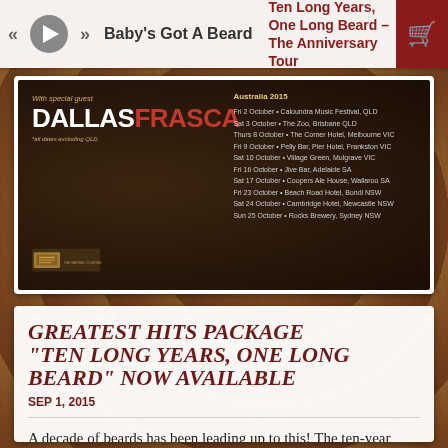Baby's Got A Beard | Ten Long Years, One Long Beard – The Anniversary Tour
[Figure (photo): Tour poster for Dallas Frasca with special guest, showing Australia 2015 tour dates on dark brown background]
Greatest Hits Package "Ten Long Years, One Long Beard" Now Available
Sep 1, 2015
A decade of beards has been leading up to this! The ten-year anniversary compilation double-album Ten Long Years, One Long Beard is out September 4th! Order your copy right now...